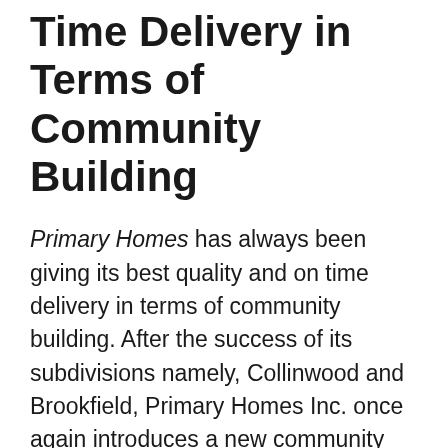Time Delivery in Terms of Community Building
Primary Homes has always been giving its best quality and on time delivery in terms of community building. After the success of its subdivisions namely, Collinwood and Brookfield, Primary Homes Inc. once again introduces a new community that will bring families closer.
This subdivision is being established in the stilly hushed